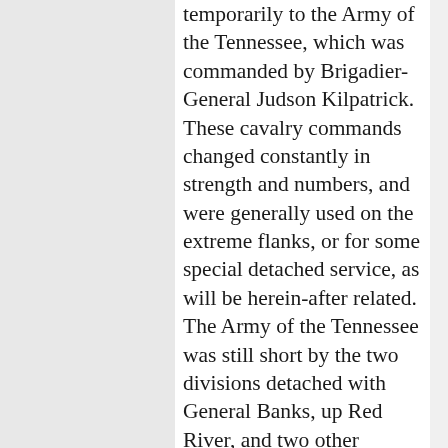temporarily to the Army of the Tennessee, which was commanded by Brigadier-General Judson Kilpatrick. These cavalry commands changed constantly in strength and numbers, and were generally used on the extreme flanks, or for some special detached service, as will be herein-after related. The Army of the Tennessee was still short by the two divisions detached with General Banks, up Red River, and two other divisions on furlough in Illinois, Indiana, and Ohio, but which were rendezvousing at Cairo, under Generals Leggett and Crocker, to form a part of the Seventeenth Corps, which corps was to be commanded by Major-General Frank P. Blair, then a member of Congress, in Washington. On the 2d of April I notified him by